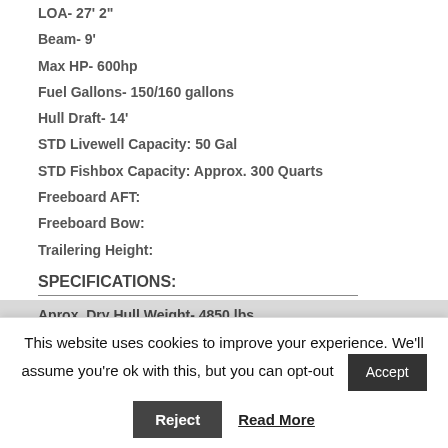LOA- 27' 2"
Beam- 9'
Max HP- 600hp
Fuel Gallons- 150/160 gallons
Hull Draft- 14'
STD Livewell Capacity: 50 Gal
STD Fishbox Capacity: Approx. 300 Quarts
Freeboard AFT:
Freeboard Bow:
Trailering Height:
SPECIFICATIONS:
Aprox. Dry Hull Weight- 4850 lbs
This website uses cookies to improve your experience. We'll assume you're ok with this, but you can opt-out
Accept
Reject
Read More